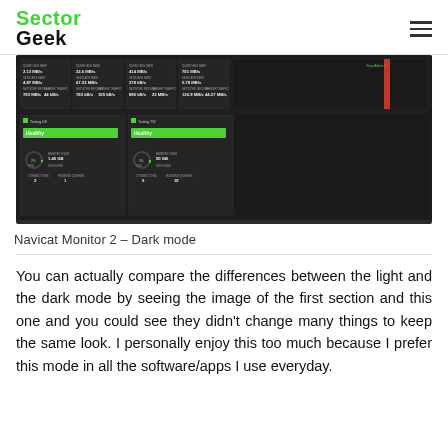SectorGeek
[Figure (screenshot): Navicat Monitor 2 dark mode dashboard screenshot showing multiple server panels with metrics like MB/s rates, server names, CPU usage percentages, disk space, and health status indicators in green. Two instances shown: Testing US and Testing TW, both marked Healthy.]
Navicat Monitor 2 – Dark mode
You can actually compare the differences between the light and the dark mode by seeing the image of the first section and this one and you could see they didn't change many things to keep the same look. I personally enjoy this too much because I prefer this mode in all the software/apps I use everyday.